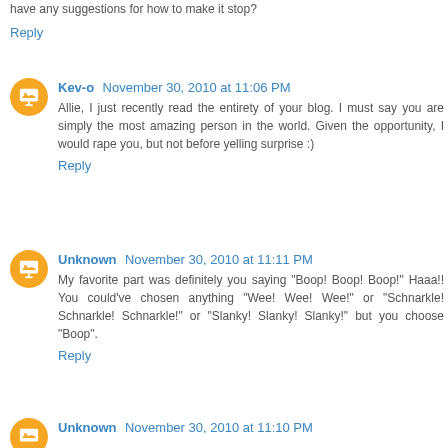have any suggestions for how to make it stop?
Reply
Kev-o November 30, 2010 at 11:06 PM
Allie, I just recently read the entirety of your blog. I must say you are simply the most amazing person in the world. Given the opportunity, I would rape you, but not before yelling surprise :)
Reply
Unknown November 30, 2010 at 11:11 PM
My favorite part was definitely you saying "Boop! Boop! Boop!" Haaa!! You could've chosen anything "Wee! Wee! Wee!" or "Schnarkle! Schnarkle! Schnarkle!" or "Slanky! Slanky! Slanky!" but you choose "Boop".
Reply
Unknown November 30, 2010 at 11:10 PM